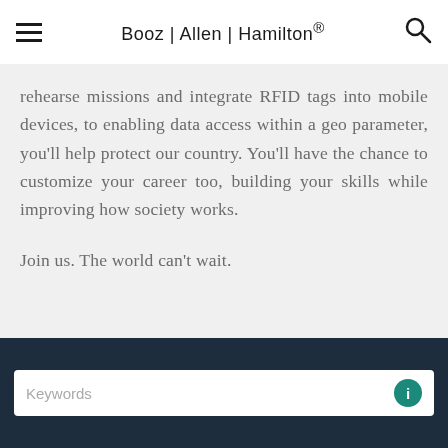Booz | Allen | Hamilton®
rehearse missions and integrate RFID tags into mobile devices, to enabling data access within a geo parameter, you'll help protect our country. You'll have the chance to customize your career too, building your skills while improving how society works.

Join us. The world can't wait.
Keywords [search bar with info icon]